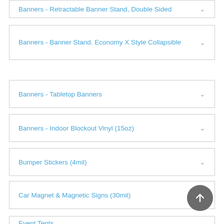Banners - Retractable Banner Stand, Double Sided
Banners - Banner Stand. Economy X Style Collapsible
Banners - Tabletop Banners
Banners - Indoor Blockout Vinyl (15oz)
Bumper Stickers (4mil)
Car Magnet & Magnetic Signs (30mil)
Event Tents
Fabric Tube Displays